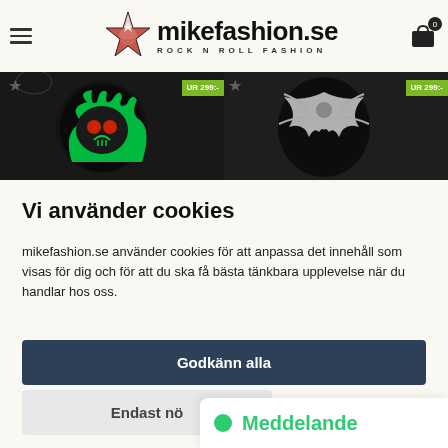mikefashion.se ROCK N ROLL FASHION
[Figure (screenshot): Banner showing two embroidered patches (skull with flames and spiderweb design) with price ribbons showing 299:-]
Vi använder cookies
mikefashion.se använder cookies för att anpassa det innehåll som visas för dig och för att du ska få bästa tänkbara upplevelse när du handlar hos oss.
Godkänn alla
Endast nö
Meddelande